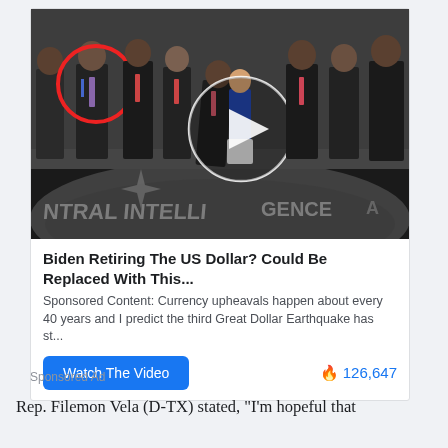[Figure (photo): Photo of group of men in suits standing in the CIA headquarters lobby with the CIA floor seal visible. One man on the left is circled in red. A video play button circle is overlaid in the center of the image.]
Biden Retiring The US Dollar? Could Be Replaced With This...
Sponsored Content: Currency upheavals happen about every 40 years and I predict the third Great Dollar Earthquake has st...
Watch The Video
🔥 126,647
Sponsored Ad
Rep. Filemon Vela (D-TX) stated, "I'm hopeful that